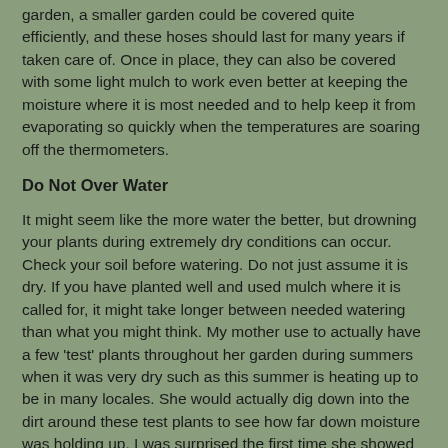garden, a smaller garden could be covered quite efficiently, and these hoses should last for many years if taken care of. Once in place, they can also be covered with some light mulch to work even better at keeping the moisture where it is most needed and to help keep it from evaporating so quickly when the temperatures are soaring off the thermometers.
Do Not Over Water
It might seem like the more water the better, but drowning your plants during extremely dry conditions can occur. Check your soil before watering. Do not just assume it is dry. If you have planted well and used mulch where it is called for, it might take longer between needed watering than what you might think. My mother use to actually have a few 'test' plants throughout her garden during summers when it was very dry such as this summer is heating up to be in many locales. She would actually dig down into the dirt around these test plants to see how far down moisture was holding up. I was surprised the first time she showed me how this worked, and how the ground could look saturated on top sometimes, and be dry just a few inches down, but in spots also under that but the ground might not be hydrated.